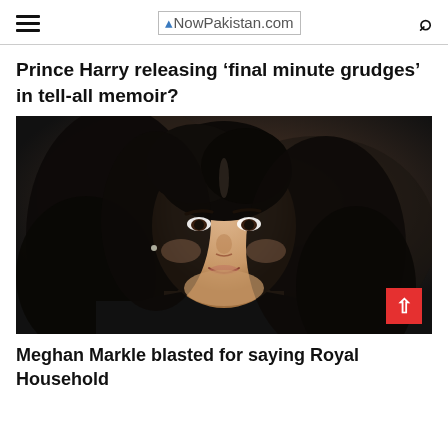NowPakistan.com
Prince Harry releasing ‘final minute grudges’ in tell-all memoir?
[Figure (photo): Portrait photo of a dark-haired woman (Meghan Markle) with flowing hair, wearing dark clothing, looking at camera with a slight smile]
Meghan Markle blasted for saying Royal Household